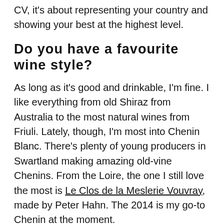CV, it's about representing your country and showing your best at the highest level.
Do you have a favourite wine style?
As long as it's good and drinkable, I'm fine. I like everything from old Shiraz from Australia to the most natural wines from Friuli. Lately, though, I'm most into Chenin Blanc. There's plenty of young producers in Swartland making amazing old-vine Chenins. From the Loire, the one I still love the most is Le Clos de la Meslerie Vouvray, made by Peter Hahn. The 2014 is my go-to Chenin at the moment.
Do you have a favourite visit?